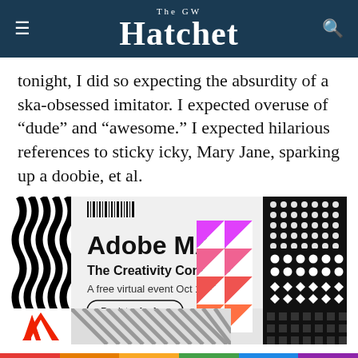The GW Hatchet
tonight, I did so expecting the absurdity of a ska-obsessed imitator. I expected overuse of “dude” and “awesome.” I expected hilarious references to sticky icky, Mary Jane, sparking up a doobie, et al.
[Figure (illustration): Adobe MAX advertisement banner. Shows 'Adobe MAX – The Creativity Conference. A free virtual event Oct 18–20. Register for free.' with geometric colorful triangle patterns, black and white stripe patterns, dot patterns, and Adobe logo.]